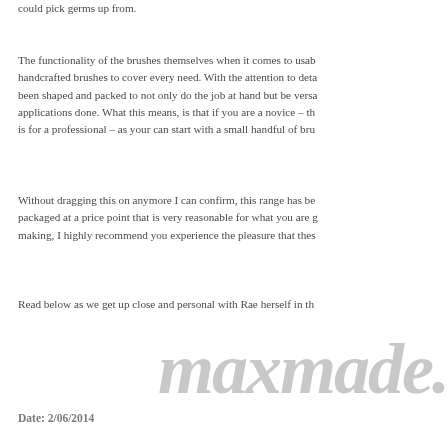could pick germs up from.
The functionality of the brushes themselves when it comes to usability, handcrafted brushes to cover every need. With the attention to detail, been shaped and packed to not only do the job at hand but be versatile applications done. What this means, is that if you are a novice – th is for a professional – as your can start with a small handful of bru
Without dragging this on anymore I can confirm, this range has be packaged at a price point that is very reasonable for what you are g making, I highly recommend you experience the pleasure that thes
Read below as we get up close and personal with Rae herself in th
[Figure (logo): maxmade. logo in large bold italic grey serif font]
Date: 2/06/2014